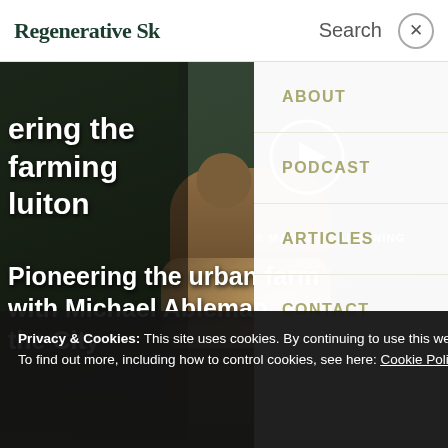Regenerative Sk  Search  ×
[Figure (screenshot): Website screenshot showing a dark background with a person holding vegetables outdoors, with partial text overlay reading 'ering the farming luiton' on the left and a video play button in the center-right area]
MARKET GARDENING
Pioneering the urban farm with Michael Ableman, aut the City
ABOUT
PODCAST
ARTICLES
CONTACT
Privacy & Cookies: This site uses cookies. By continuing to use this website, you agree to their use.
To find out more, including how to control cookies, see here: Cookie Policy
Close and accept